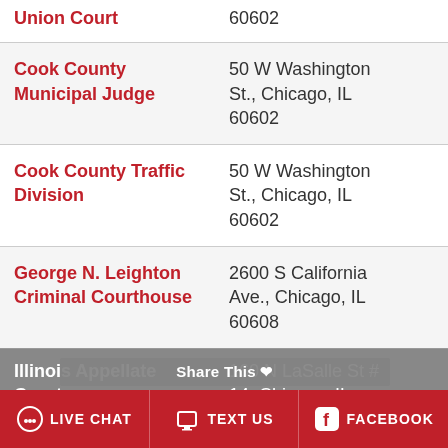| Court Name | Address |
| --- | --- |
| Union Court | 60602 |
| Cook County Municipal Judge | 50 W Washington St., Chicago, IL 60602 |
| Cook County Traffic Division | 50 W Washington St., Chicago, IL 60602 |
| George N. Leighton Criminal Courthouse | 2600 S California Ave., Chicago, IL 60608 |
| Illinois Appellate Court | 160 N LaSalle St #14, Chicago, IL |
LIVE CHAT | TEXT US | FACEBOOK